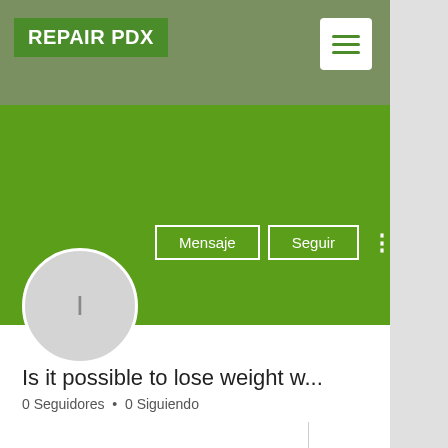REPAIR PDX
[Figure (screenshot): Mobile app profile page screenshot for 'Repair PDX' showing a user profile with name 'Is it possible to lose weight w...', 0 Seguidores, 0 Siguiendo, and Perfil section with Fecha de registro: 5 may 2022]
Is it possible to lose weight w...
0 Seguidores • 0 Siguiendo
Perfil
Fecha de registro: 5 may 2022